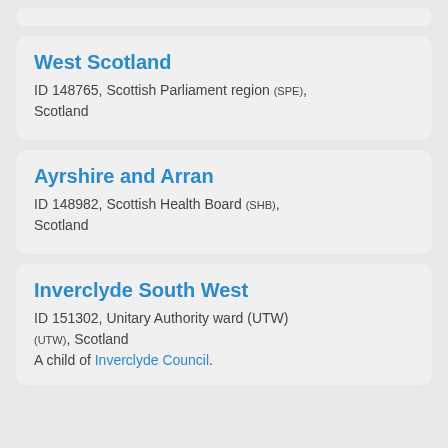West Scotland
ID 148765, Scottish Parliament region (SPE), Scotland
Ayrshire and Arran
ID 148982, Scottish Health Board (SHB), Scotland
Inverclyde South West
ID 151302, Unitary Authority ward (UTW) (UTW), Scotland
A child of Inverclyde Council.